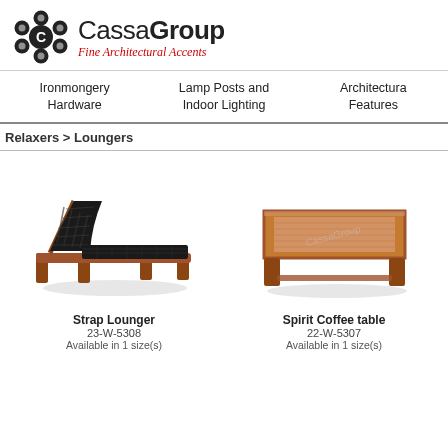CassaGroup Fine Architectural Accents
Ironmongery Hardware | Lamp Posts and Indoor Lighting | Architectural Features
Relaxers > Loungers
[Figure (photo): Strap Lounger – a dark woven strap chaise lounge with wooden frame, reclined backrest, viewed from the side]
Strap Lounger
23-W-5308
Available in 1 size(s)
[Figure (photo): Spirit Coffee table – a square low wooden coffee table with a decorative inlaid top, viewed from a slight angle]
Spirit Coffee table
22-W-5307
Available in 1 size(s)